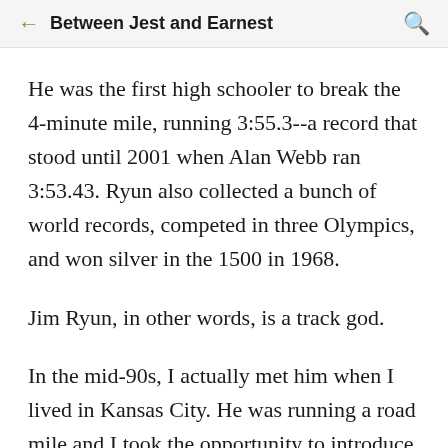Between Jest and Earnest
He was the first high schooler to break the 4-minute mile, running 3:55.3--a record that stood until 2001 when Alan Webb ran 3:53.43. Ryun also collected a bunch of world records, competed in three Olympics, and won silver in the 1500 in 1968.
Jim Ryun, in other words, is a track god.
In the mid-90s, I actually met him when I lived in Kansas City. He was running a road mile and I took the opportunity to introduce myself. I'm not